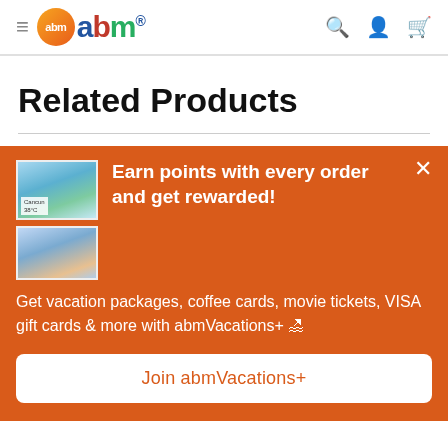abm navigation header with logo and icons
Related Products
[Figure (screenshot): Orange promotional banner with two vacation thumbnail images, heading 'Earn points with every order and get rewarded!', body text about abmVacations+, and a Join button]
Earn points with every order and get rewarded!
Get vacation packages, coffee cards, movie tickets, VISA gift cards & more with abmVacations+ 🏖
Join abmVacations+